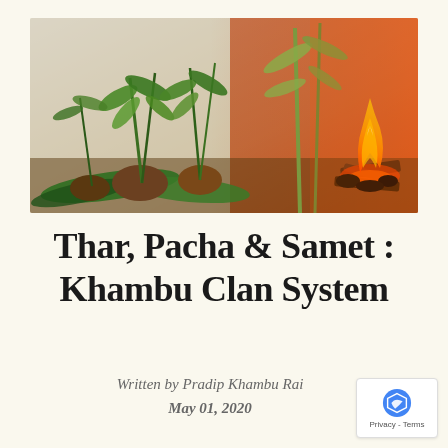[Figure (photo): Photograph of a ritual scene: green plants with roots placed on banana leaves, with a small fire/flame burning on the right side against a warm orange-red background wall.]
Thar, Pacha & Samet : Khambu Clan System
Written by Pradip Khambu Rai
May 01, 2020